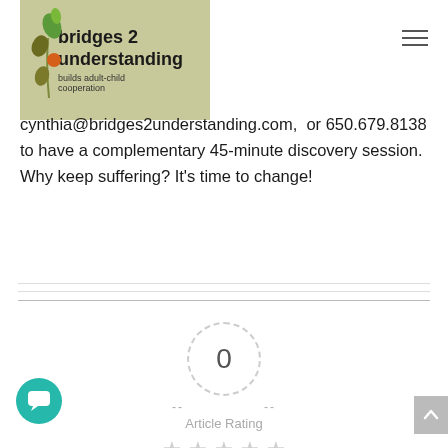[Figure (logo): Bridges 2 Understanding logo — olive/sage background with decorative leaf/branch illustration on the left; bold text 'bridges 2 understanding' and smaller text 'builds adult-child cooperation']
cynthia@bridges2understanding.com, or 650.679.8138 to have a complementary 45-minute discovery session. Why keep suffering? It's time to change!
[Figure (infographic): Article rating widget: dashed circle with '0' in center, dashes on each side, 'Article Rating' label below, five empty/grey stars beneath]